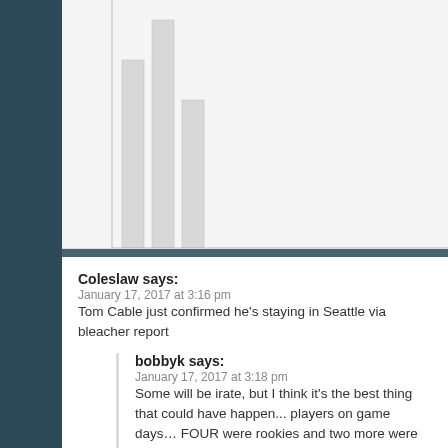[Figure (other): Partial bar chart visible at top of page, cropped]
Coleslaw says:
January 17, 2017 at 3:16 pm

Tom Cable just confirmed he's staying in Seattle via bleacher report
bobbyk says:
January 17, 2017 at 3:18 pm

Some will be irate, but I think it's the best thing that could have happen... players on game days… FOUR were rookies and two more were first... unbelievable.
Seatown says:
January 17, 2017 at 4:21 pm

Does this really make you happy? It's ten years worth of stats.

Adjusted sack rate ranking of Tom Cable offensive lines, 2006-2016:

31
27
30
31